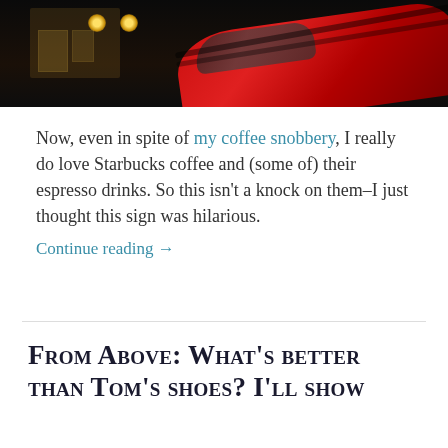[Figure (photo): Night scene photo showing a building with warm glowing lights and lanterns on the left, and the roof/hood of a red car on the right, against a dark background.]
Now, even in spite of my coffee snobbery, I really do love Starbucks coffee and (some of) their espresso drinks. So this isn't a knock on them–I just thought this sign was hilarious.
Continue reading →
From Above: What's better than Tom's shoes? I'll show